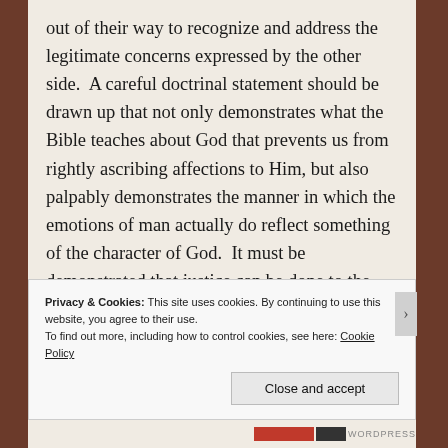out of their way to recognize and address the legitimate concerns expressed by the other side.  A careful doctrinal statement should be drawn up that not only demonstrates what the Bible teaches about God that prevents us from rightly ascribing affections to Him, but also palpably demonstrates the manner in which the emotions of man actually do reflect something of the character of God.  It must be demonstrated that justice can be done to the anthropopathisms of Scripture without resorting to any sort of modified theism.  If we really want unity in the sense that the great
Privacy & Cookies: This site uses cookies. By continuing to use this website, you agree to their use.
To find out more, including how to control cookies, see here: Cookie Policy
Close and accept